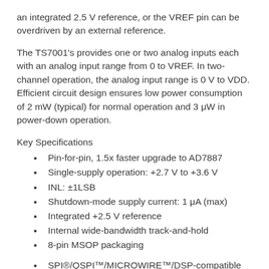an integrated 2.5 V reference, or the VREF pin can be overdriven by an external reference.
The TS7001's provides one or two analog inputs each with an analog input range from 0 to VREF. In two-channel operation, the analog input range is 0 V to VDD. Efficient circuit design ensures low power consumption of 2 mW (typical) for normal operation and 3 μW in power-down operation.
Key Specifications
Pin-for-pin, 1.5x faster upgrade to AD7887
Single-supply operation: +2.7 V to +3.6 V
INL: ±1LSB
Shutdown-mode supply current: 1 μA (max)
Integrated +2.5 V reference
Internal wide-bandwidth track-and-hold
8-pin MSOP packaging
SPI®/QSPI™/MICROWIRE™/DSP-compatible